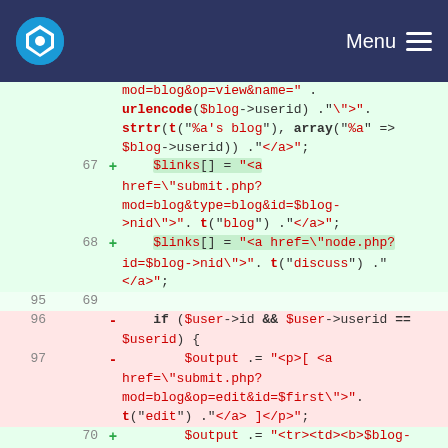Menu
[Figure (screenshot): Code diff view showing PHP code changes. Lines 67-68 added (green), lines 95-97 removed (pink), line 69 empty, line 70 added (green). Code includes $links[], $output .= PHP statements with HTML strings.]